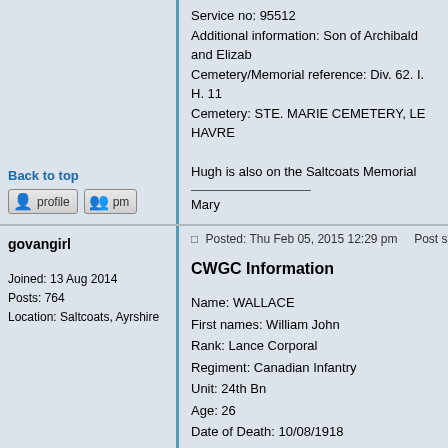Service no: 95512
Additional information: Son of Archibald and Elizab...
Cemetery/Memorial reference: Div. 62. I. H. 11
Cemetery: STE. MARIE CEMETERY, LE HAVRE

Hugh is also on the Saltcoats Memorial

________________
Mary
Back to top
govangirl
Joined: 13 Aug 2014
Posts: 764
Location: Saltcoats, Ayrshire
Posted: Thu Feb 05, 2015 12:29 pm    Post subject: Kirkg...
CWGC Information

Name: WALLACE
First names: William John
Rank: Lance Corporal
Regiment: Canadian Infantry
Unit: 24th Bn
Age: 26
Date of Death: 10/08/1918
Service no: 66013
Additional information: Son of William and Jemima...
Cemetery/Memorial reference: III. D. 24
Cemetery: DOINGT...COMMUNAL CEMETERY...